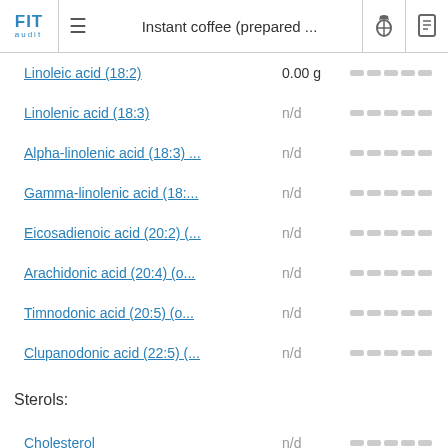FIT audit | ≡ | Instant coffee (prepared ... | [flask icon] [book icon]
Linoleic acid (18:2) — 0.00 g
Linolenic acid (18:3) — n/d
Alpha-linolenic acid (18:3) ... — n/d
Gamma-linolenic acid (18:... — n/d
Eicosadienoic acid (20:2) (... — n/d
Arachidonic acid (20:4) (o... — n/d
Timnodonic acid (20:5) (o... — n/d
Clupanodonic acid (22:5) (... — n/d
Sterols:
Cholesterol — n/d
Phytosterols — n/d
Stigmasterol — n/d
Campesterol — n/d
Beta-sitosterol — n/d